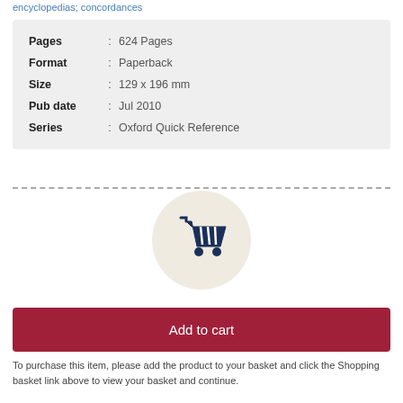encyclopedias; concordances
| Pages | : | 624 Pages |
| Format | : | Paperback |
| Size | : | 129 x 196 mm |
| Pub date | : | Jul 2010 |
| Series | : | Oxford Quick Reference |
[Figure (illustration): Shopping cart icon inside a beige circle]
Add to cart
To purchase this item, please add the product to your basket and click the Shopping basket link above to view your basket and continue.